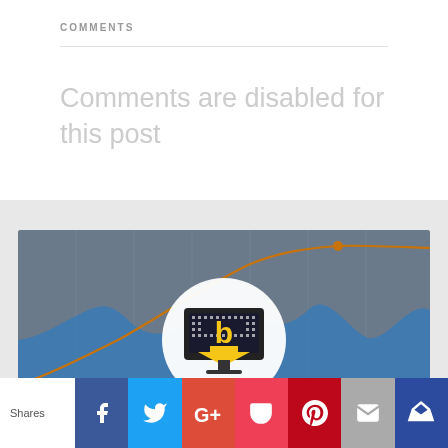COMMENTS
Comments are disabled for this post
[Figure (screenshot): Monitor Backlinks advertisement banner showing a line chart with blue area chart and orange trend line, with a Monitor Backlinks logo icon (monitor with 'b' symbol) overlaid in the center]
Shares | Facebook | Twitter | Google+ | Pocket | Pinterest | Email | Crown